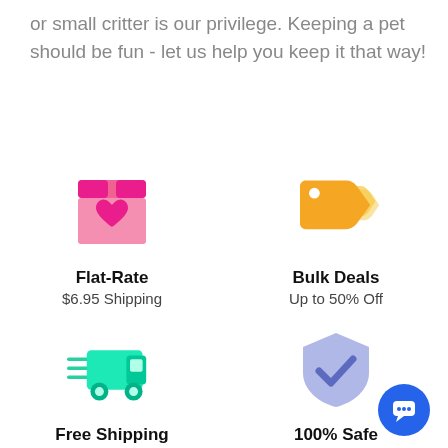or small critter is our privilege. Keeping a pet should be fun - let us help you keep it that way!
[Figure (illustration): Pink box with heart icon representing Flat-Rate shipping]
Flat-Rate
$6.95 Shipping
[Figure (illustration): Golden price tag icon representing Bulk Deals]
Bulk Deals
Up to 50% Off
[Figure (illustration): Green delivery truck with speed lines representing Free Shipping]
Free Shipping
On Orders $75+
[Figure (illustration): Purple shield with checkmark representing 100% Safe & Secure Checkout]
100% Safe
& Secure Checkout